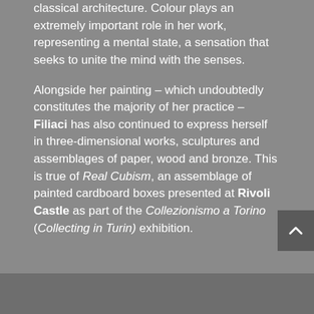classical architecture. Colour plays an extremely important role in her work, representing a mental state, a sensation that seeks to unite the mind with the senses.
Alongside her painting – which undoubtedly constitutes the majority of her practice – Filiaci has also continued to express herself in three-dimensional works, sculptures and assemblages of paper, wood and bronze. This is true of Real Cubism, an assemblage of painted cardboard boxes presented at Rivoli Castle as part of the Collezionismo a Torino (Collecting in Turin) exhibition.